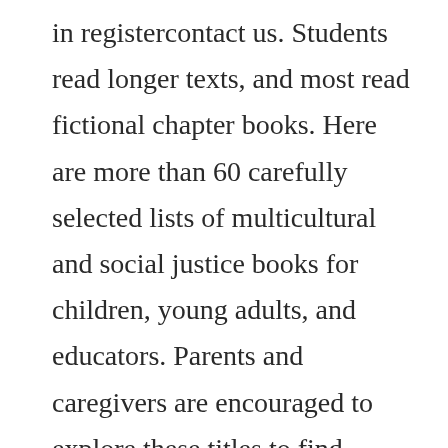in registercontact us. Students read longer texts, and most read fictional chapter books. Here are more than 60 carefully selected lists of multicultural and social justice books for children, young adults, and educators. Parents and caregivers are encouraged to explore these titles to find resources that may match or spark their child s interest. Aug 27, 2018 you will find a selection of childrens books featuring people of color, books set in a variety of countries, and i even included at least one folk tale for each week. Wilbooks is